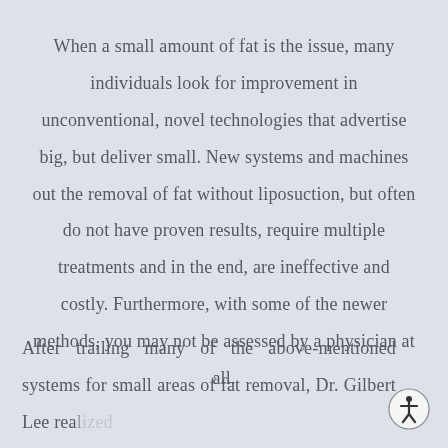When a small amount of fat is the issue, many individuals look for improvement in unconventional, novel technologies that advertise big, but deliver small. New systems and machines out the removal of fat without liposuction, but often do not have proven results, require multiple treatments and in the end, are ineffective and costly. Furthermore, with some of the newer methods, you may not be assessed by a physician at all.
After trailing many of the above-mentioned systems for small areas of fat removal, Dr. Gilbert Lee realized the need for a simple and affordable option that